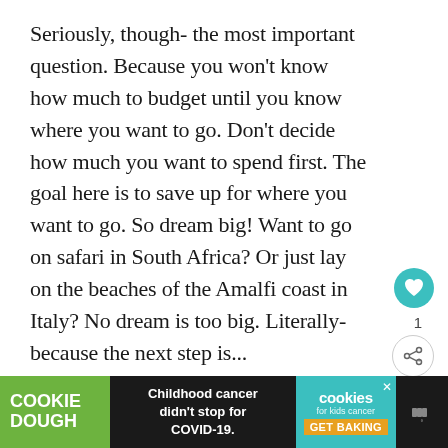Seriously, though- the most important question. Because you won't know how much to budget until you know where you want to go. Don't decide how much you want to spend first. The goal here is to save up for where you want to go. So dream big! Want to go on safari in South Africa? Or just lay on the beaches of the Amalfi coast in Italy? No dream is too big. Literally- because the next step is...
[Figure (infographic): Teal circular heart/like button icon]
1
[Figure (infographic): Share button icon (circular with border)]
[Figure (infographic): What's Next card with beach thumbnail image, teal label 'WHAT'S NEXT →', and title '7 Tips for Your Honeymoon ...']
[Figure (infographic): Advertisement banner: Cookie Dough green logo on left, 'Childhood cancer didn't stop for COVID-19.' text in center, cookies for kids cancer teal logo with GET BAKING button on right, mute icon far right]